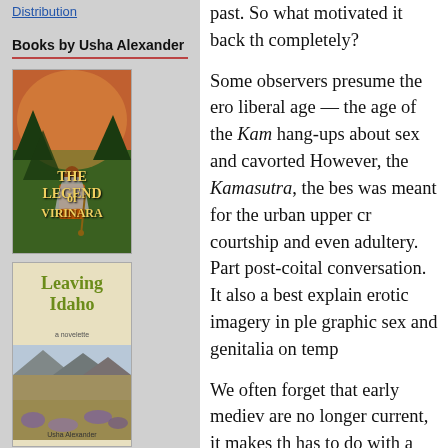Distribution
Books by Usha Alexander
[Figure (photo): Book cover: The Legend of Virinara by Usha Alexander. Shows a woman with long grey hair seen from behind, wearing orange, in a forest scene with warm light. Title in yellow text.]
[Figure (photo): Book cover: Leaving Idaho, a novelette by Usha Alexander. Features green title text on a light background with mountain landscape photography below.]
[Figure (photo): Partial book cover, green/foliage background, bottom of page.]
past. So what motivated it back th completely?
Some observers presume the ero liberal age — the age of the Kam hang-ups about sex and cavorted However, the Kamasutra, the bes was meant for the urban upper cr courtship and even adultery. Part post-coital conversation. It also a best explain erotic imagery in ple graphic sex and genitalia on temp
We often forget that early mediev are no longer current, it makes th has to do with a Tantric religious s intertwined pursuits. The prehisto were nurtured by a prominent str auspicious. Such symbols, at firs Over the centuries, the symbols …